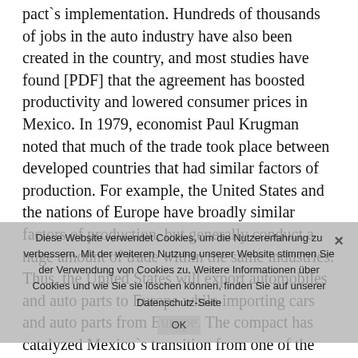pact`s implementation. Hundreds of thousands of jobs in the auto industry have also been created in the country, and most studies have found [PDF] that the agreement has boosted productivity and lowered consumer prices in Mexico. In 1979, economist Paul Krugman noted that much of the trade took place between developed countries that had similar factors of production. For example, the United States and the nations of Europe have broadly similar factors of production, but generally conduct a huge amount of trade within the same industries. Thus, the United States will export automobiles and auto parts to Europe while importing cars and auto parts from Europe. The compact has catalyzed Mexico`s transition from one of the world`s most protectionist economies to one of the most trade-friendly.

Mexico had eliminated many of its trade barriers when it acceded to the General Agreement on Tariffs and Trade (GATT), the forerunner of the WTO, in 1986, but still had an average tariff level of 10% before NAFTA. In addition, some
Diese Website verwendet Cookies, um die Nutzererfahrung zu verbessern. Mit der weiteren Nutzung unserer Website stimmen Sie der Verwendung von Cookies zu. Weitere Informationen über Cookies und wie Sie sie löschen können, finden Sie auf unserer Datenschutz-Seite
OK